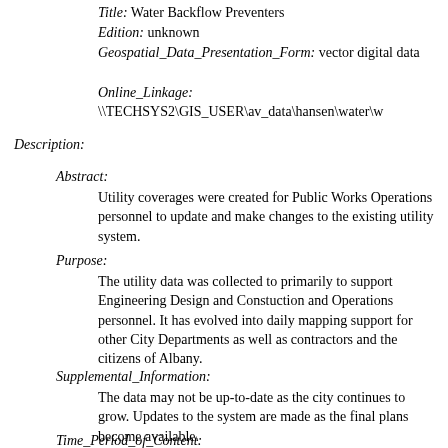Title: Water Backflow Preventers
Edition: unknown
Geospatial_Data_Presentation_Form: vector digital data
Online_Linkage: \\TECHSYS2\GIS_USER\av_data\hansen\water\w
Description:
Abstract:
Utility coverages were created for Public Works Operations personnel to update and make changes to the existing utility system.
Purpose:
The utility data was collected to primarily to support Engineering Design and Constuction and Operations personnel. It has evolved into daily mapping support for other City Departments as well as contractors and the citizens of Albany.
Supplemental_Information:
The data may not be up-to-date as the city continues to grow. Updates to the system are made as the final plans become available.
Time_Period_of_Content: